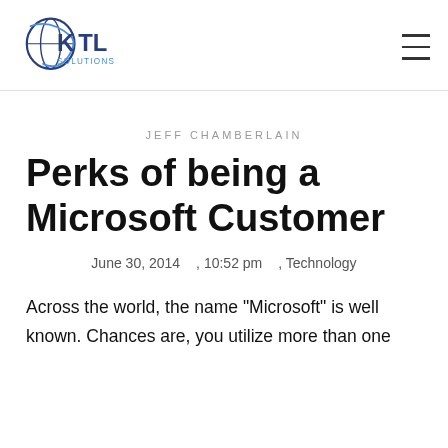[Figure (logo): KTL Solutions logo with stylized globe and text 'KTL SOLUTIONS']
JEFF CHAMBERLAIN
Perks of being a Microsoft Customer
June 30, 2014  , 10:52 pm  , Technology
Across the world, the name “Microsoft” is well known. Chances are, you utilize more than one